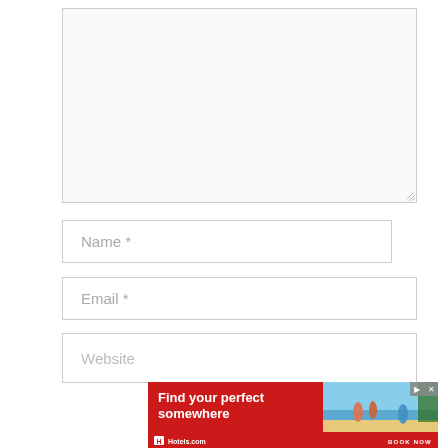[Figure (screenshot): Large empty textarea input field with light gray border and resize handle in bottom-right corner]
Name *
Email *
Website
[Figure (infographic): Hotels.com advertisement banner with red background, text 'Find your perfect somewhere', beach photo with people, Hotels.com logo, and BOOK NOW call to action]